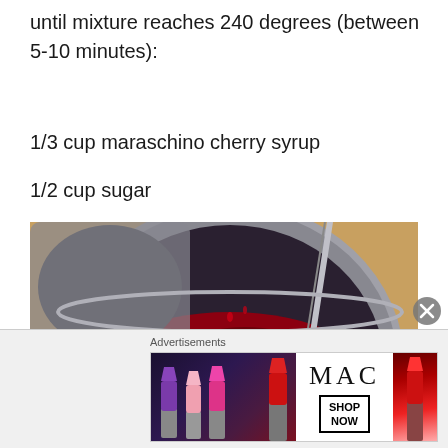until mixture reaches 240 degrees (between 5-10 minutes):
1/3 cup maraschino cherry syrup
1/2 cup sugar
[Figure (photo): A silver pot viewed from above containing red maraschino cherry syrup being poured or mixed with white sugar, with a candy thermometer visible at the top]
Advertisements
[Figure (photo): MAC cosmetics advertisement showing colorful lipsticks on the left, MAC logo in center, SHOP NOW box, and red lipstick on the right]